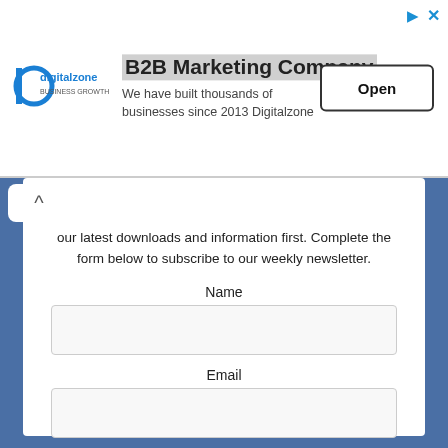[Figure (screenshot): Ad banner for B2B Marketing Company (Digitalzone) with logo, headline, subtext, and Open button]
B2B Marketing Company
We have built thousands of businesses since 2013 Digitalzone
our latest downloads and information first. Complete the form below to subscribe to our weekly newsletter.
Name
Email
I consent to being contacted via telephone and/or email and I consent to my data being stored in accordance with European GDPR regulations and agree to the terms of use and privacy policy.
Submit